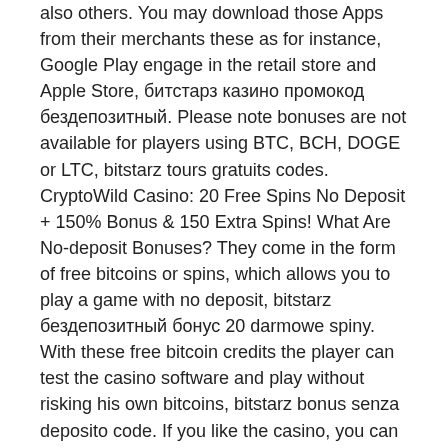also others. You may download those Apps from their merchants these as for instance, Google Play engage in the retail store and Apple Store, битстарз казино промокод бездепозитный. Please note bonuses are not available for players using BTC, BCH, DOGE or LTC, bitstarz tours gratuits codes. CryptoWild Casino: 20 Free Spins No Deposit + 150% Bonus & 150 Extra Spins! What Are No-deposit Bonuses? They come in the form of free bitcoins or spins, which allows you to play a game with no deposit, bitstarz бездепозитный бонус 20 darmowe spiny. With these free bitcoin credits the player can test the casino software and play without risking his own bitcoins, bitstarz bonus senza deposito code. If you like the casino, you can continue with your own deposits. Although this is technically true, it's so much more than that. Let me elaborate with a metaphorical example, bitstarz ingen insättningsbonus 20 ilmaiskierroksia. Online